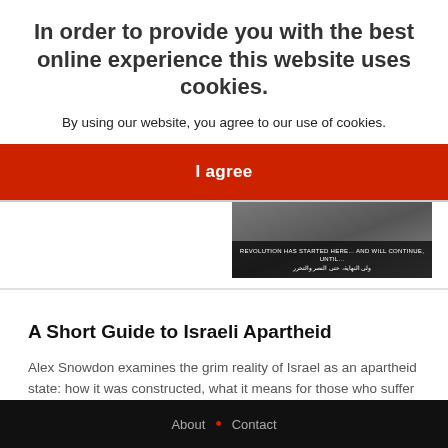Alex Snowdon
[Figure (photo): Black and white photograph with text overlay reading 'REVOLUTION HAS STARTED HERE... AND WILL CONTINUE, UNTIL...' in English and Arabic script]
A Short Guide to Israeli Apartheid
Alex Snowdon examines the grim reality of Israel as an apartheid state: how it was constructed, what it means for those who suffer under it...
In order to provide you with the best online experience this website uses cookies.
By using our website, you agree to our use of cookies.
I agree
About • Contact